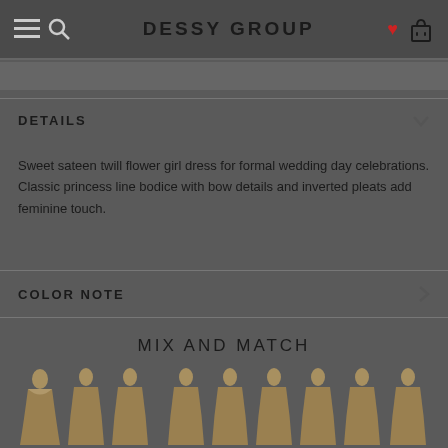DESSY GROUP
DETAILS
Sweet sateen twill flower girl dress for formal wedding day celebrations. Classic princess line bodice with bow details and inverted pleats add feminine touch.
COLOR NOTE
MIX AND MATCH
[Figure (photo): Row of female dress silhouette thumbnails showing various bridesmaid/formal dress styles in a golden/champagne color]